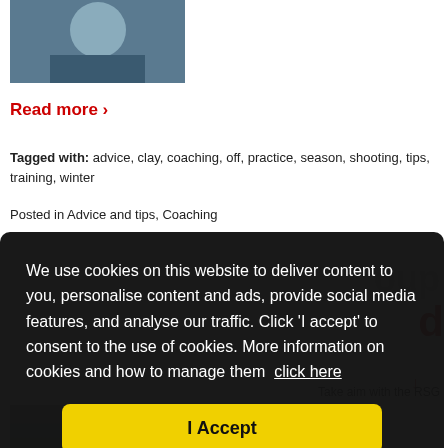[Figure (photo): Cropped photo of a person, partially visible at top of page]
Read more ›
Tagged with: advice, clay, coaching, off, practice, season, shooting, tips, training, winter
Posted in Advice and tips, Coaching
We use cookies on this website to deliver content to you, personalise content and ads, provide social media features, and analyse our traffic. Click 'I accept' to consent to the use of cookies. More information on cookies and how to manage them  click here
I Accept